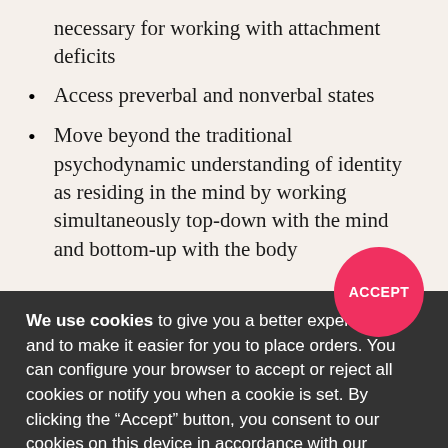necessary for working with attachment deficits
Access preverbal and nonverbal states
Move beyond the traditional psychodynamic understanding of identity as residing in the mind by working simultaneously top-down with the mind and bottom-up with the body
We use cookies to give you a better experience and to make it easier for you to place orders. You can configure your browser to accept or reject all cookies or notify you when a cookie is set. By clicking the “Accept” button, you consent to our cookies on this device in accordance with our Privacy Policy, unless you have disabled cookies in your browser settings.